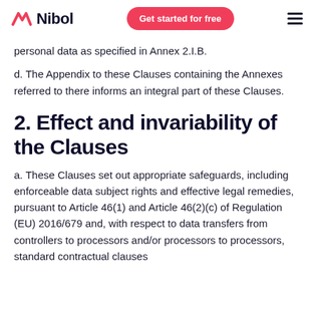Nibol — Get started for free
personal data as specified in Annex 2.I.B.
d. The Appendix to these Clauses containing the Annexes referred to there informs an integral part of these Clauses.
2. Effect and invariability of the Clauses
a. These Clauses set out appropriate safeguards, including enforceable data subject rights and effective legal remedies, pursuant to Article 46(1) and Article 46(2)(c) of Regulation (EU) 2016/679 and, with respect to data transfers from controllers to processors and/or processors to processors, standard contractual clauses